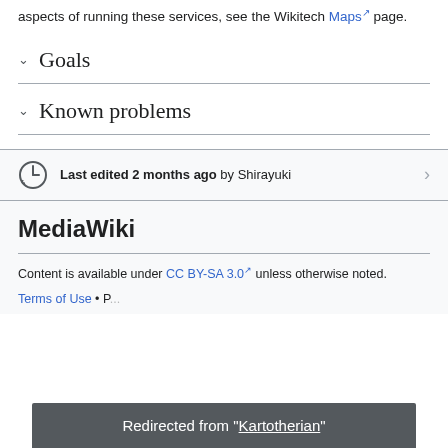aspects of running these services, see the Wikitech Maps page.
Goals
Known problems
Last edited 2 months ago by Shirayuki
MediaWiki
Content is available under CC BY-SA 3.0 unless otherwise noted.
Terms of Use • P...
Redirected from "Kartotherian"